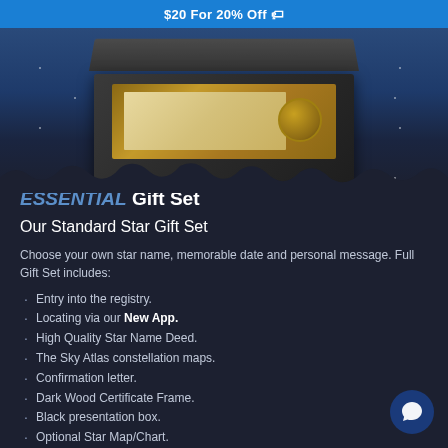$20 For 20% Off 🏷
[Figure (photo): Product photo of a gift box set containing a star name deed certificate and medal coin, displayed in a dark wooden tray against a starry night sky background.]
ESSENTIAL Gift Set
Our Standard Star Gift Set
Choose your own star name, memorable date and personal message. Full Gift Set includes:
Entry into the registry.
Locating via our New App.
High Quality Star Name Deed.
The Sky Atlas constellation maps.
Confirmation letter.
Dark Wood Certificate Frame.
Black presentation box.
Optional Star Map/Chart.
Optional constellation choice
FREE 1-3 Day Priority Shipping.